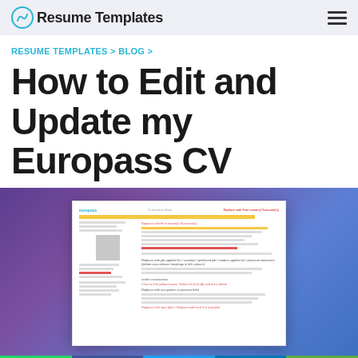myResume Templates
RESUME TEMPLATES > BLOG >
How to Edit and Update my Europass CV
[Figure (screenshot): Screenshot of a Europass CV template with editing instructions shown on a purple gradient background]
Social sharing bar: WhatsApp, Facebook, Twitter, LinkedIn, Email